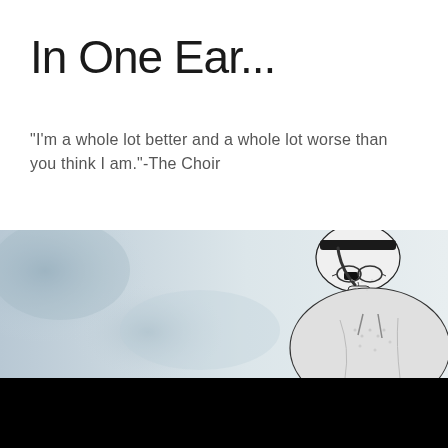In One Ear...
"I'm a whole lot better and a whole lot worse than you think I am."-The Choir
[Figure (illustration): Blog header banner: watercolor/painted light blue-grey abstract background on left, sketch/halftone illustration of a heavyset person with glasses and a backwards cap touching their head on the right side.]
APRIL 9, 2010
Hey Erick Erickson!